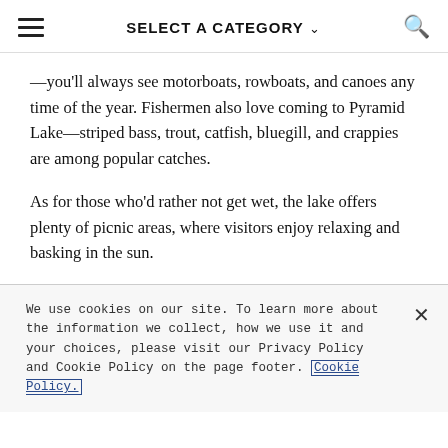SELECT A CATEGORY
—you'll always see motorboats, rowboats, and canoes any time of the year. Fishermen also love coming to Pyramid Lake—striped bass, trout, catfish, bluegill, and crappies are among popular catches.
As for those who'd rather not get wet, the lake offers plenty of picnic areas, where visitors enjoy relaxing and basking in the sun.
We use cookies on our site. To learn more about the information we collect, how we use it and your choices, please visit our Privacy Policy and Cookie Policy on the page footer. Cookie Policy.